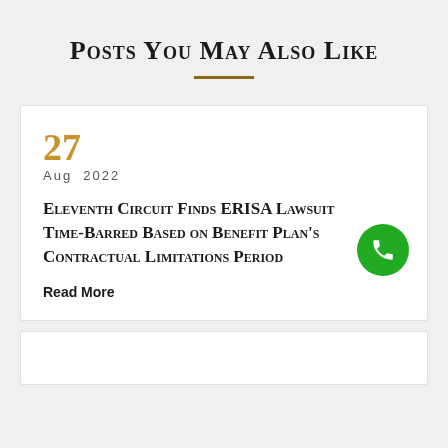Posts You May Also Like
27
Aug 2022
Eleventh Circuit Finds ERISA Lawsuit Time-Barred Based on Benefit Plan's Contractual Limitations Period
Read More